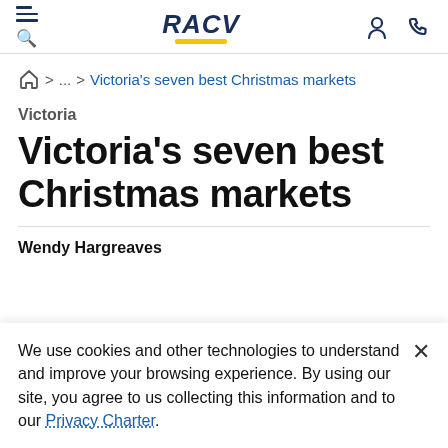RACV
Home > ... > Victoria's seven best Christmas markets
Victoria
Victoria's seven best Christmas markets
Wendy Hargreaves
We use cookies and other technologies to understand and improve your browsing experience. By using our site, you agree to us collecting this information and to our Privacy Charter.